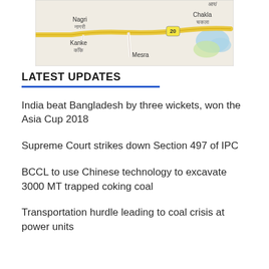[Figure (map): Map showing area around Ranchi, India with locations Nagri/नागरी, Chakla/चकला, Kanke/काँके, Mesra, and road marker 20]
LATEST UPDATES
India beat Bangladesh by three wickets, won the Asia Cup 2018
Supreme Court strikes down Section 497 of IPC
BCCL to use Chinese technology to excavate 3000 MT trapped coking coal
Transportation hurdle leading to coal crisis at power units